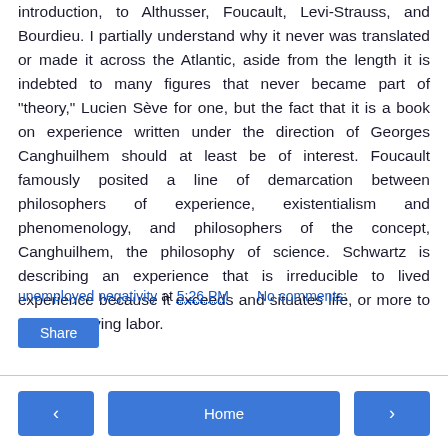introduction, to Althusser, Foucault, Levi-Strauss, and Bourdieu. I partially understand why it never was translated or made it across the Atlantic, aside from the length it is indebted to many figures that never became part of "theory," Lucien Sève for one, but the fact that it is a book on experience written under the direction of Georges Canghuilhem should at least be of interest. Foucault famously posited a line of demarcation between philosophers of experience, existentialism and phenomenology, and philosophers of the concept, Canghuilhem, the philosophy of science. Schwartz is describing an experience that is irreducible to lived experience because it exceeds and situates life, or more to the point, living labor.
unemployed negativity at 5:26 PM   No comments: